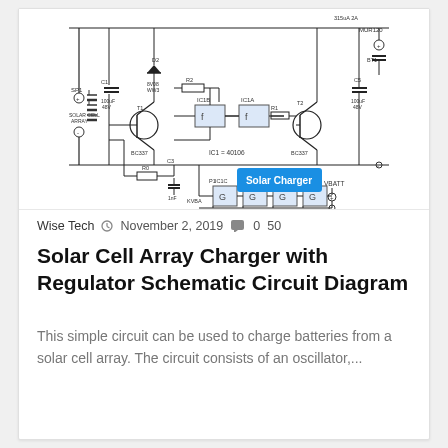[Figure (circuit-diagram): Solar Cell Array Charger with Regulator schematic circuit diagram showing solar cell array, BC337 transistors, MUR120 diode, IC1A/IC1B/IC1C/IC1D/IC1E/IC1F components (IC1=40106), capacitors (100uF 48V, 1nF), and VBATT output. Blue 'Solar Charger' badge in bottom right.]
Wise Tech  November 2, 2019  0  50
Solar Cell Array Charger with Regulator Schematic Circuit Diagram
This simple circuit can be used to charge batteries from a solar cell array. The circuit consists of an oscillator,...
Read More »